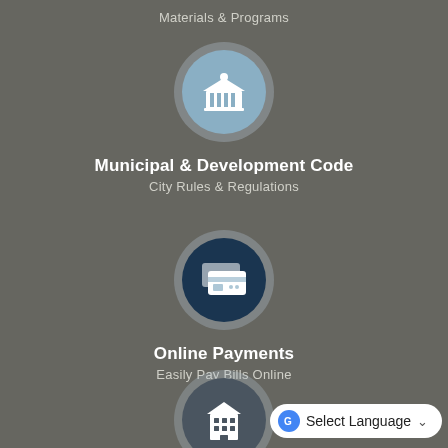Materials & Programs
[Figure (infographic): Circle icon with a government/municipal building (bank/courthouse) icon in white on a blue-grey circle, representing Municipal & Development Code]
Municipal & Development Code
City Rules & Regulations
[Figure (infographic): Circle icon with a payment/credit card icon in white on a dark navy circle, representing Online Payments]
Online Payments
Easily Pay Bills Online
[Figure (infographic): Circle icon with a building/permit icon in white on a grey circle, representing Building Permitting]
Building Permitting
Select Language